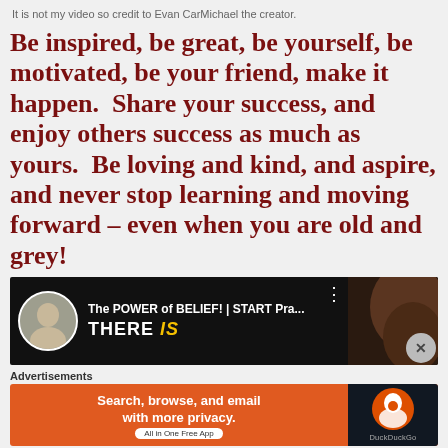It is not my video so credit to Evan CarMichael the creator.
Be inspired, be great, be yourself, be motivated, be your friend, make it happen.  Share your success, and enjoy others success as much as yours.  Be loving and kind, and aspire, and never stop learning and moving forward – even when you are old and grey!
[Figure (screenshot): YouTube video thumbnail showing 'The POWER of BELIEF! | START Pra...' with a bald man avatar on left and a woman on right, dark background with yellow and white text 'THERE IS']
Advertisements
[Figure (screenshot): DuckDuckGo advertisement banner: 'Search, browse, and email with more privacy. All in One Free App' with DuckDuckGo logo on dark right panel]